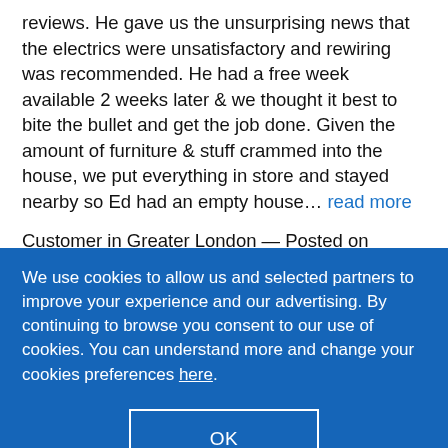reviews. He gave us the unsurprising news that the electrics were unsatisfactory and rewiring was recommended. He had a free week available 2 weeks later & we thought it best to bite the bullet and get the job done. Given the amount of furniture & stuff crammed into the house, we put everything in store and stayed nearby so Ed had an empty house… read more
Customer in Greater London — Posted on
We use cookies to allow us and selected partners to improve your experience and our advertising. By continuing to browse you consent to our use of cookies. You can understand more and change your cookies preferences here.